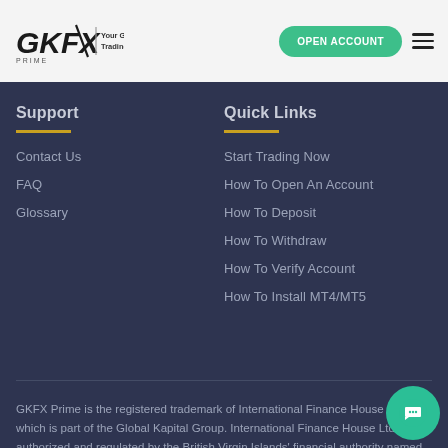GKFX | Your Global Trading Partner | OPEN ACCOUNT
Support
Contact Us
FAQ
Glossary
Quick Links
Start Trading Now
How To Open An Account
How To Deposit
How To Withdraw
How To Verify Account
How To Install MT4/MT5
GKFX Prime is the registered trademark of International Finance House Ltd, which is part of the Global Kapital Group. International Finance House Ltd is authorized and regulated by the British Virgin Islands' financial authority named Financial Services Commission ('FSC BVI') under the company number 1753 and license number BVI SIBA/L/1066.